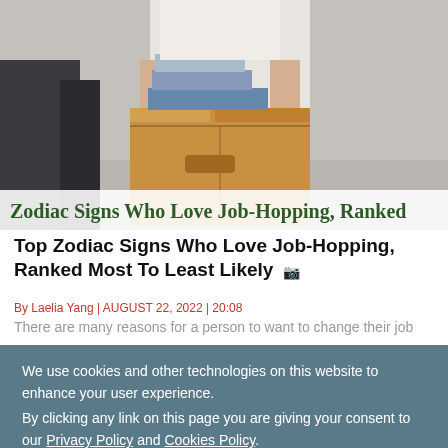[Figure (photo): A person carrying a stack of books on top of a large cardboard moving box, with text overlay reading 'Zodiac Signs Who Love Job-Hopping, Ranked']
Top Zodiac Signs Who Love Job-Hopping, Ranked Most To Least Likely
By Laelia Yang | AUGUST 22, 2022 | 20:08
There are many reasons for a person to want to change their job
We use cookies and other technologies on this website to enhance your user experience. By clicking any link on this page you are giving your consent to our Privacy Policy and Cookies Policy.